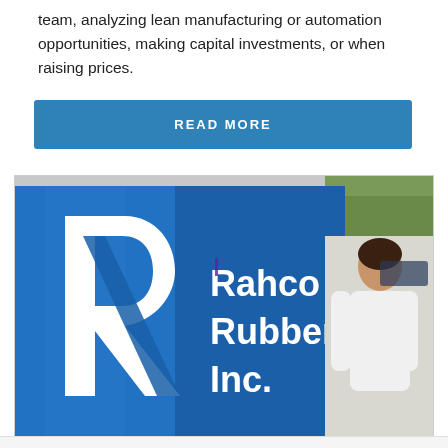team, analyzing lean manufacturing or automation opportunities, making capital investments, or when raising prices.
READ MORE
[Figure (photo): Photo of a woman in a white blouse standing in front of a large blue sign that reads 'Rahco Rubber, Inc.' with the company logo (stylized letter R) on the left side of the sign. Trees are visible in the background on the right.]